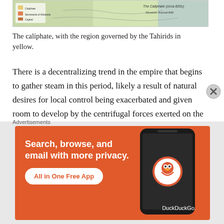[Figure (map): Partial view of a historical map showing the Abbasid Caliphate with regions color-coded, including yellow for Tahirid-governed area.]
The caliphate, with the region governed by the Tahirids in yellow.
There is a decentralizing trend in the empire that begins to gather steam in this period, likely a result of natural desires for local control being exacerbated and given room to develop by the centrifugal forces exerted on the empire by the civil war and its mismanaged aftermath. Aside from the movement for Khurasani autonomy, which was really driven by a reassertion of a
Advertisements
[Figure (screenshot): DuckDuckGo advertisement banner with orange background showing 'Search, browse, and email with more privacy. All in One Free App' with a phone mockup and DuckDuckGo logo.]